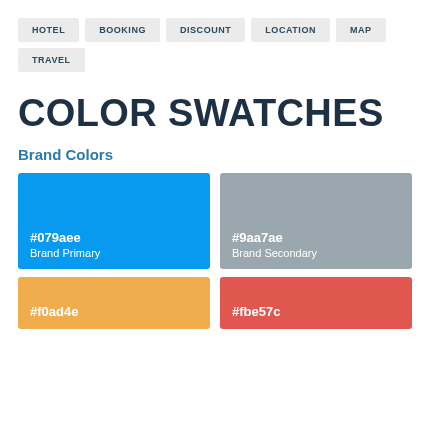HOTEL
BOOKING
DISCOUNT
LOCATION
MAP
TRAVEL
COLOR SWATCHES
Brand Colors
[Figure (infographic): Color swatch for #079aee Brand Primary (blue)]
[Figure (infographic): Color swatch for #9aa7ae Brand Secondary (gray)]
[Figure (infographic): Color swatch for #f0ad4e (gold/yellow)]
[Figure (infographic): Color swatch for #fbe57c (red/coral)]